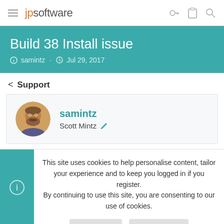jpsoftware
Build 38 Install issue
samintz · Jul 29, 2017
< Support
samintz
Scott Mintz
This site uses cookies to help personalise content, tailor your experience and to keep you logged in if you register.
By continuing to use this site, you are consenting to our use of cookies.
Accept   Learn more...